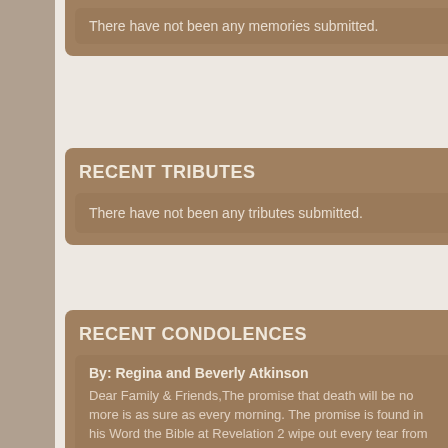There have not been any memories submitted.
RECENT TRIBUTES
There have not been any tributes submitted.
RECENT CONDOLENCES
By: Regina and Beverly Atkinson
Dear Family & Friends,The promise that death will be no more is as sure as every morning. The promise is found in his Word the Bible at Revelation 2 wipe out every tear from their... View Entire Condolence
By: Never Gone
Dear Iusain, We are so sorry about the loss of your loved one. We w we can to help you remember the life of your lost loved one. We ho